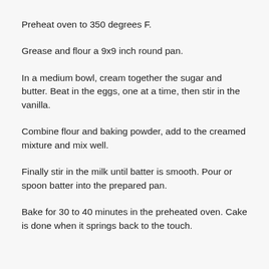Preheat oven to 350 degrees F.
Grease and flour a 9x9 inch round pan.
In a medium bowl, cream together the sugar and butter. Beat in the eggs, one at a time, then stir in the vanilla.
Combine flour and baking powder, add to the creamed mixture and mix well.
Finally stir in the milk until batter is smooth. Pour or spoon batter into the prepared pan.
Bake for 30 to 40 minutes in the preheated oven. Cake is done when it springs back to the touch.